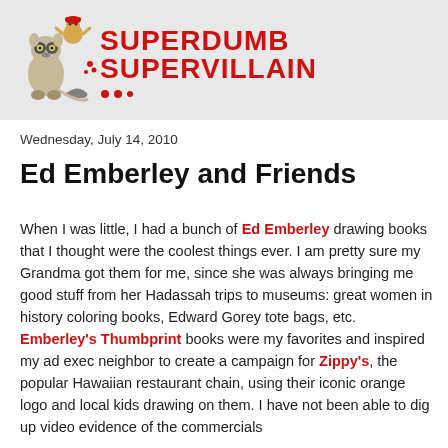[Figure (logo): Superdumb Supervillain blog logo with cartoon animal characters and red bold text]
Wednesday, July 14, 2010
Ed Emberley and Friends
When I was little, I had a bunch of Ed Emberley drawing books that I thought were the coolest things ever. I am pretty sure my Grandma got them for me, since she was always bringing me good stuff from her Hadassah trips to museums: great women in history coloring books, Edward Gorey tote bags, etc. Emberley's Thumbprint books were my favorites and inspired my ad exec neighbor to create a campaign for Zippy's, the popular Hawaiian restaurant chain, using their iconic orange logo and local kids drawing on them. I have not been able to dig up video evidence of the commercials